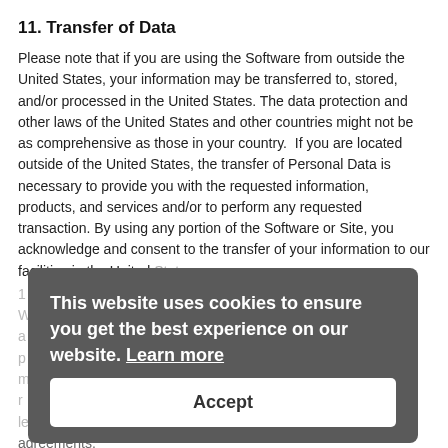11. Transfer of Data
Please note that if you are using the Software from outside the United States, your information may be transferred to, stored, and/or processed in the United States. The data protection and other laws of the United States and other countries might not be as comprehensive as those in your country.  If you are located outside of the United States, the transfer of Personal Data is necessary to provide you with the requested information, products, and services and/or to perform any requested transaction. By using any portion of the Software or Site, you acknowledge and consent to the transfer of your information to our facilities in the United States.
[Figure (screenshot): Cookie consent overlay with dark gray background. Text reads: 'This website uses cookies to ensure you get the best experience on our website. Learn more'. Below is a white Accept button.]